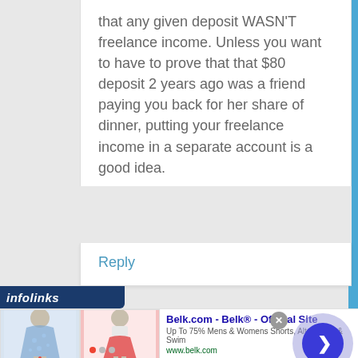that any given deposit WASN'T freelance income. Unless you want to have to prove that that $80 deposit 2 years ago was a friend paying you back for her share of dinner, putting your freelance income in a separate account is a good idea.
Reply
[Figure (screenshot): Infolinks advertisement banner for Belk.com showing two clothing images (floral dress and red skirt), ad title 'Belk.com - Belk® - Official Site', description 'Up To 75% Mens & Womens Shorts, Alts, Skirts & Swim', URL 'www.belk.com', with a close button (x) and navigation arrow button.]